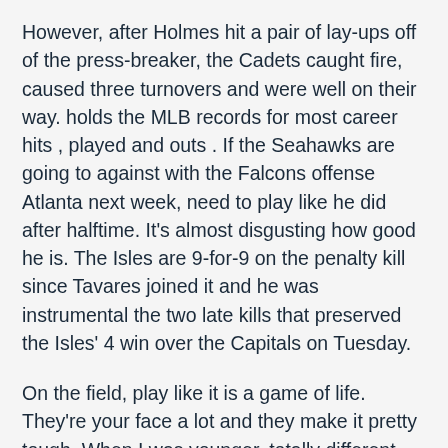However, after Holmes hit a pair of lay-ups off of the press-breaker, the Cadets caught fire, caused three turnovers and were well on their way. holds the MLB records for most career hits , played and outs . If the Seahawks are going to against with the Falcons offense Atlanta next week, need to play like he did after halftime. It's almost disgusting how good he is. The Isles are 9-for-9 on the penalty kill since Tavares joined it and he was instrumental the two late kills that preserved the Isles' 4 win over the Capitals on Tuesday.
On the field, play like it is a game of life. They're your face a lot and they make it pretty tough. When I was younger, totally different stories, but there's much potential, much growth there, hopefully he grows. • I bet President Bush thought all these people were gathered to him 2009, but if we're being real, they